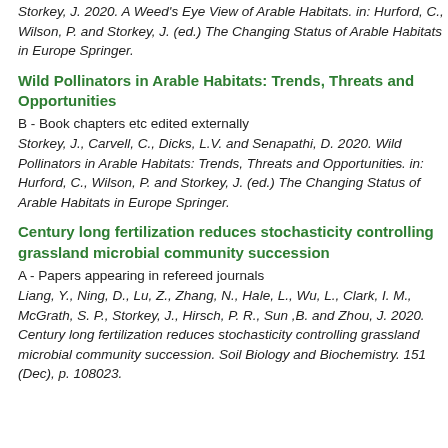Storkey, J. 2020. A Weed's Eye View of Arable Habitats. in: Hurford, C., Wilson, P. and Storkey, J. (ed.) The Changing Status of Arable Habitats in Europe Springer.
Wild Pollinators in Arable Habitats: Trends, Threats and Opportunities
B - Book chapters etc edited externally
Storkey, J., Carvell, C., Dicks, L.V. and Senapathi, D. 2020. Wild Pollinators in Arable Habitats: Trends, Threats and Opportunities. in: Hurford, C., Wilson, P. and Storkey, J. (ed.) The Changing Status of Arable Habitats in Europe Springer.
Century long fertilization reduces stochasticity controlling grassland microbial community succession
A - Papers appearing in refereed journals
Liang, Y., Ning, D., Lu, Z., Zhang, N., Hale, L., Wu, L., Clark, I. M., McGrath, S. P., Storkey, J., Hirsch, P. R., Sun ,B. and Zhou, J. 2020. Century long fertilization reduces stochasticity controlling grassland microbial community succession. Soil Biology and Biochemistry. 151 (Dec), p. 108023.